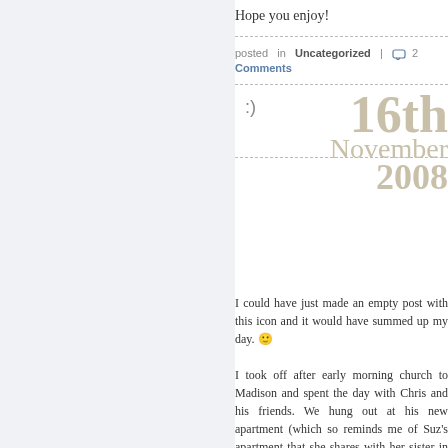Hope you enjoy!
posted in Uncategorized | 2 Comments
:)
16th November 2008
I could have just made an empty post with this icon and it would have summed up my day. 🙂
I took off after early morning church to Madison and spent the day with Chris and his friends. We hung out at his new apartment (which so reminds me of Suz's apartment that she shares with her sister in SLC), fixing his water faucets that, of course, sprayed rusty water across the room, ate bagels for lunch, wandered around a little bit downtown (it's definitely starting to get chilly!), went to the movies (Quantum of Solace), ate fried cheese curds (it's a really good thin